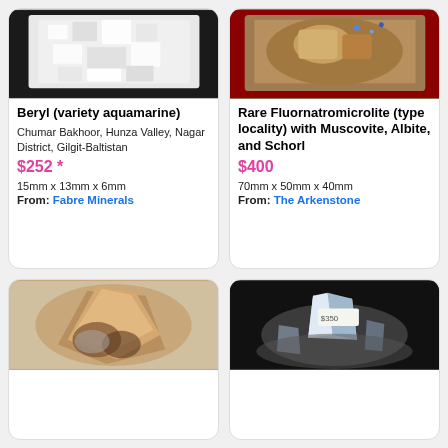[Figure (photo): White crystalline beryl aquamarine mineral specimen on black background]
Beryl (variety aquamarine)
Chumar Bakhoor, Hunza Valley, Nagar District, Gilgit-Baltistan
$252 *
15mm x 13mm x 6mm
From: Fabre Minerals
[Figure (photo): Rare Fluornatromicrolite mineral specimen with Muscovite, Albite, and Schorl on red background]
Rare Fluornatromicrolite (type locality) with Muscovite, Albite, and Schorl
$400
70mm x 50mm x 40mm
From: The Arkenstone
[Figure (photo): Brown and tan mineral specimen]
[Figure (photo): Pale blue/grey mineral crystal cluster on dark background]